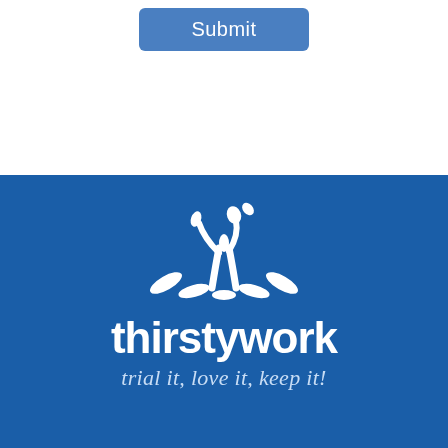[Figure (screenshot): A blue Submit button (rounded rectangle) on white background at top of page]
[Figure (logo): Thirstywork logo: white splash/water figure icon above the word 'thirstywork' in white bold sans-serif text, with tagline 'trial it, love it, keep it!' in italic below, all on a royal blue background]